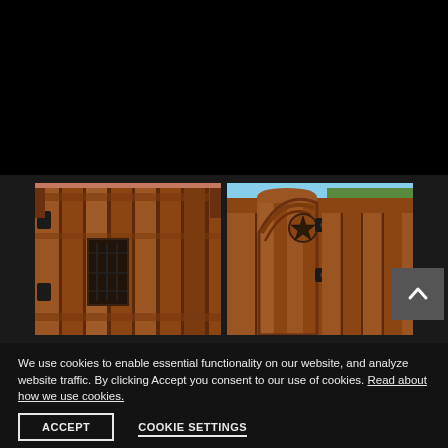[Figure (photo): Two side-by-side photos of decorative wooden gates. Left photo shows a tall cedar wood gate with black iron hinges and a small decorative window with iron scrollwork. Right photo shows an arched cedar wood gate with a star medallion and black iron hinges.]
We use cookies to enable essential functionality on our website, and analyze website traffic. By clicking Accept you consent to our use of cookies. Read about how we use cookies.
ACCEPT
COOKIE SETTINGS